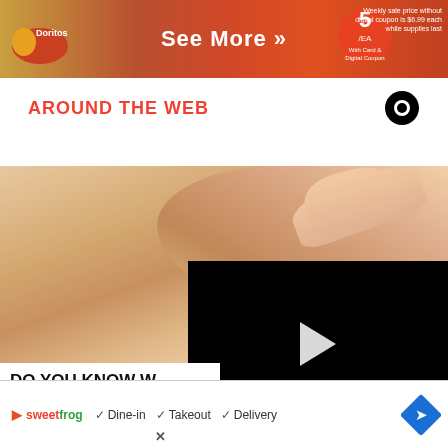[Figure (screenshot): Ad banner showing Doritos and grocery store promotion with 'See More »' button in center, orange/red background]
AROUND THE WEB
[Figure (photo): Close-up photo of human skin with a mole being examined by a hand, with a black video player overlay showing a play button in the bottom-right area]
DO YOU KNOW W… (TAKE A LOOK)
[Figure (screenshot): Bottom advertisement banner for sweetFrog restaurant showing checkmarks for Dine-in, Takeout, Delivery and a blue directions icon]